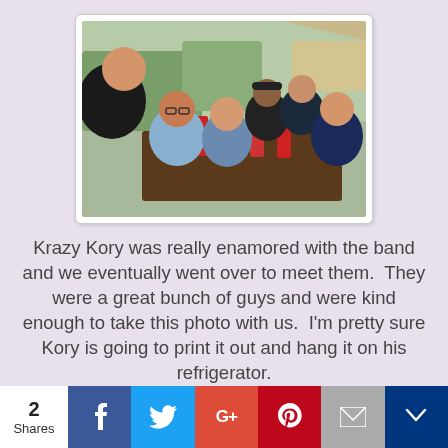[Figure (photo): Group of people sitting around a table outdoors at what appears to be a festival or outdoor venue, posing for a photo. Red drinks on the table. Outdoor tents visible in background.]
Krazy Kory was really enamored with the band and we eventually went over to meet them.  They were a great bunch of guys and were kind enough to take this photo with us.  I'm pretty sure Kory is going to print it out and hang it on his refrigerator.